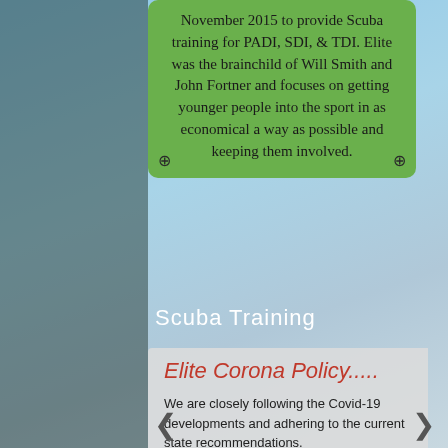November 2015 to provide Scuba training for PADI, SDI, & TDI. Elite was the brainchild of Will Smith and John Fortner and focuses on getting younger people into the sport in as economical a way as possible and keeping them involved.
Scuba Training
Elite Corona Policy.....
We are closely following the Covid-19 developments and adhering to the current state recommendations. We have decided to keep our doors open for now but would like to urge you all to assist us in being able to doing so. It is clear that social distancing is the most effective approach against the spread of COVID-19 and as such we would like to ask